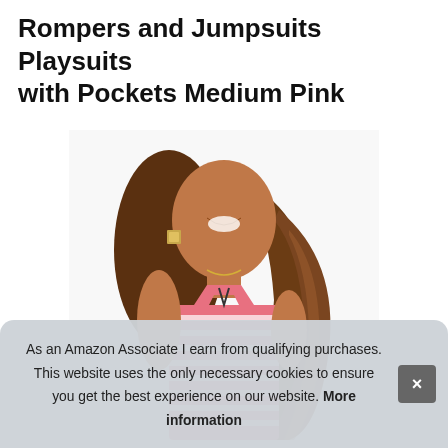Rompers and Jumpsuits Playsuits with Pockets Medium Pink
[Figure (photo): A smiling woman with long wavy brown hair wearing a pink and white striped sleeveless halter romper/playsuit with pockets.]
As an Amazon Associate I earn from qualifying purchases. This website uses the only necessary cookies to ensure you get the best experience on our website. More information